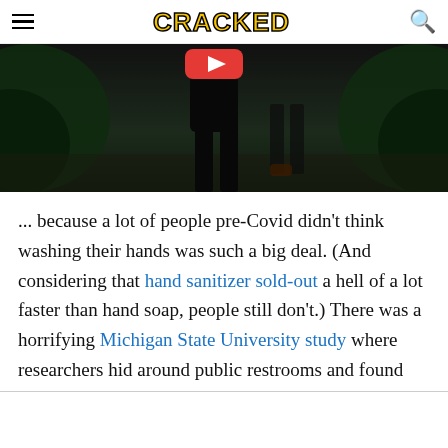CRACKED
[Figure (photo): Dark outdoor scene showing a person silhouetted against dark foliage, with a red play button visible at the top center of the image.]
... because a lot of people pre-Covid didn't think washing their hands was such a big deal. (And considering that hand sanitizer sold-out a hell of a lot faster than hand soap, people still don't.) There was a horrifying Michigan State University study where researchers hid around public restrooms and found